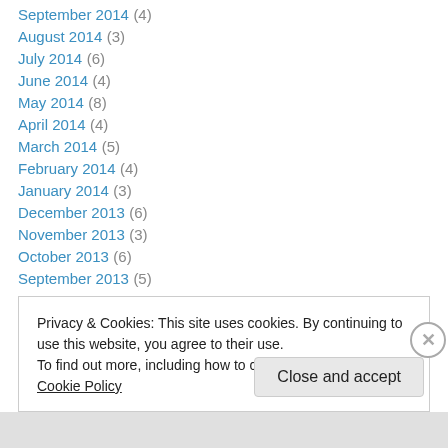September 2014 (4)
August 2014 (3)
July 2014 (6)
June 2014 (4)
May 2014 (8)
April 2014 (4)
March 2014 (5)
February 2014 (4)
January 2014 (3)
December 2013 (6)
November 2013 (3)
October 2013 (6)
September 2013 (5)
Privacy & Cookies: This site uses cookies. By continuing to use this website, you agree to their use. To find out more, including how to control cookies, see here: Cookie Policy
Close and accept